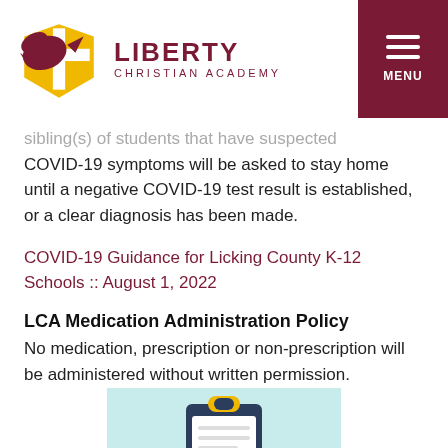Liberty Christian Academy — MENU
Sibling(s) of students that have suspected COVID-19 symptoms will be asked to stay home until a negative COVID-19 test result is established, or a clear diagnosis has been made.
COVID-19 Guidance for Licking County K-12 Schools :: August 1, 2022
LCA Medication Administration Policy
No medication, prescription or non-prescription will be administered without written permission.
[Figure (illustration): Clipboard with medication illustration, teal/light blue background, partially visible at bottom of page]